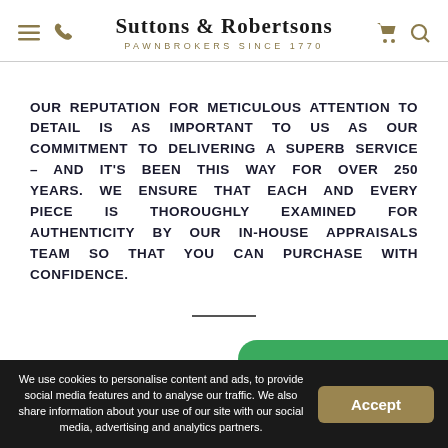Suttons & Robertsons — Pawnbrokers Since 1770
OUR REPUTATION FOR METICULOUS ATTENTION TO DETAIL IS AS IMPORTANT TO US AS OUR COMMITMENT TO DELIVERING A SUPERB SERVICE – AND IT'S BEEN THIS WAY FOR OVER 250 YEARS. WE ENSURE THAT EACH AND EVERY PIECE IS THOROUGHLY EXAMINED FOR AUTHENTICITY BY OUR IN-HOUSE APPRAISALS TEAM SO THAT YOU CAN PURCHASE WITH CONFIDENCE.
We use cookies to personalise content and ads, to provide social media features and to analyse our traffic. We also share information about your use of our site with our social media, advertising and analytics partners.